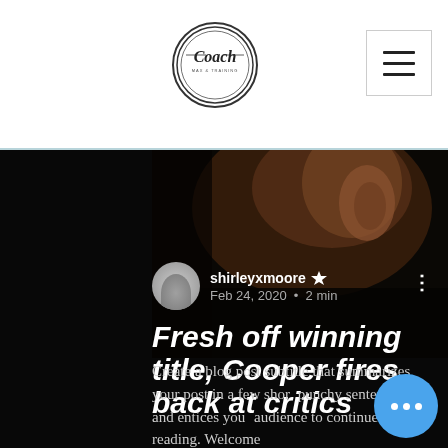Coach - logo header with menu button
[Figure (photo): Dark close-up photo of a person's ear and shoulder, very low key lighting with dark brown and black tones]
shirleyxmoore 👑 Feb 24, 2020 · 2 min
Fresh off winning title, Cooper fires back at critics
Create a blog post subtitle that summarizes your post in a few short punchy sentences and entices your audience to continue reading. Welcome